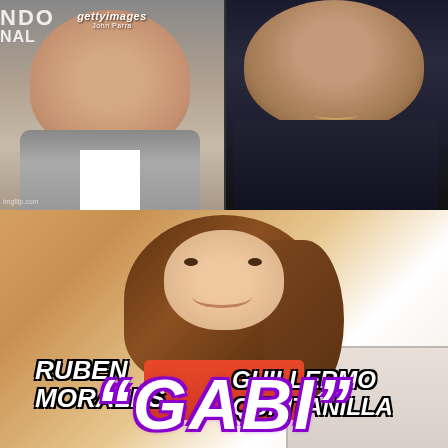[Figure (photo): Photo of Ruben Morales, a man in a suit jacket, with Getty Images watermark visible]
[Figure (photo): Photo of Guillermo Quintanilla, a man in a dark shirt with a necklace]
RUBEN MORALES.
GUILLERMO QUINTANILLA
[Figure (photo): Photo of a smiling woman with long brown hair wearing an orange/red top]
"GABI"